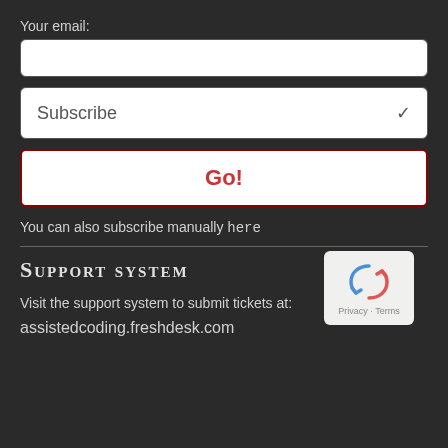Your email:
[Figure (other): Email input text field (white rectangle, empty)]
[Figure (other): Dropdown selector showing 'Subscribe' with chevron arrow]
[Figure (other): Button labeled 'Go!' in red text, white background with dark red border]
You can also subscribe manually here
Support System
Visit the support system to submit tickets at:
assistedcoding.freshdesk.com
[Figure (other): reCAPTCHA widget showing recycling arrows logo with 'Privacy · Terms' text below]